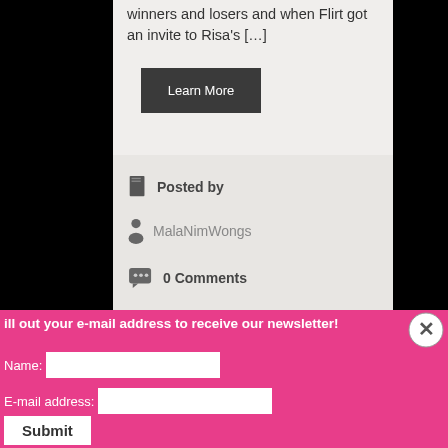winners and losers and when Flirt got an invite to Risa's […]
Learn More
Posted by
MalaNimWongs
0 Comments
Agogo Bars in Pattaya, Bar, Bar girls, Bars, Bars in Pattaya,
Fill out your e-mail address to receive our newsletter!
Name:
E-mail address:
Submit